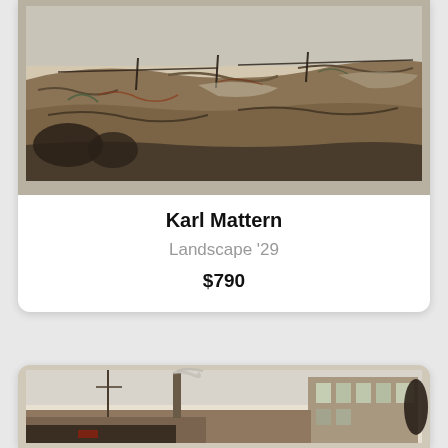[Figure (photo): Artwork painting by Karl Mattern - Landscape '29, showing an abstract landscape in earthy brown, grey and green tones with gestural brushwork]
Karl Mattern
Landscape '29
$790
[Figure (photo): Second artwork painting showing an industrial scene with buildings, smokestacks and steam in muted tones]